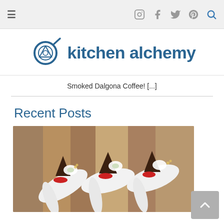Navigation bar with hamburger menu and social icons (Instagram, Facebook, Twitter, Pinterest, Search)
[Figure (logo): Kitchen Alchemy logo: dark blue frying pan icon with alchemy symbol, text 'kitchen alchemy' in dark blue bold sans-serif]
Smoked Dalgona Coffee! [...]
Recent Posts
[Figure (photo): Food photography showing elegant appetizers or desserts served on white spoons arranged on a wooden cutting board. Items appear to include dark cone-shaped elements, red caviar or beads, cream, and white foam/mousse garnishes.]